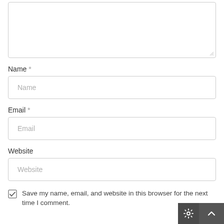[Figure (screenshot): Textarea input box with resize handle at bottom-right corner]
Name *
[Figure (screenshot): Name text input field with placeholder text 'Name']
Email *
[Figure (screenshot): Email text input field with placeholder text 'Email']
Website
[Figure (screenshot): Website text input field with placeholder text 'Website']
Save my name, email, and website in this browser for the next time I comment.